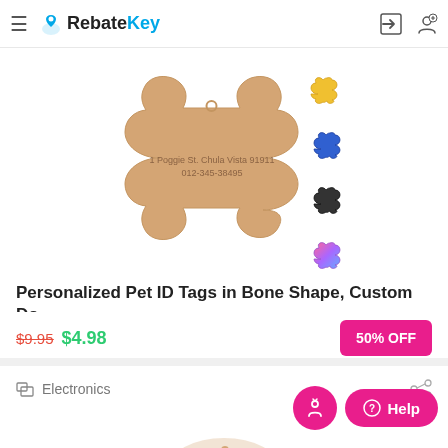RebateKey
[Figure (photo): Personalized bone-shaped pet ID tags in multiple colors (rose gold, yellow, blue, black, rainbow), showing engraved sample address and phone number]
Personalized Pet ID Tags in Bone Shape, Custom Do...
$9.95 $4.98  50% OFF
Electronics
[Figure (photo): Partial view of a rose gold beaded watch or bracelet]
Help